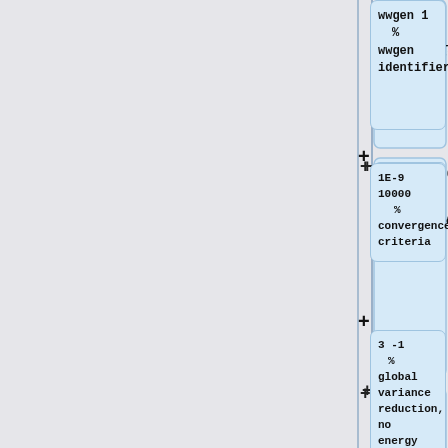[Figure (flowchart): Vertical flowchart showing MCNP input file parameters with connected code boxes containing: 'wwgen 1 % wwgen identifier', '1E-9 10000 % convergence criteria', '3 -1 % global variance reduction, no energy binning', '1 % cartesian mesh', '-400.01 400.01 2 % x-dimensions', '-400.01 400.01 2 % y-dimensions (partially visible)'. Each box is connected by + symbols on a vertical line.]